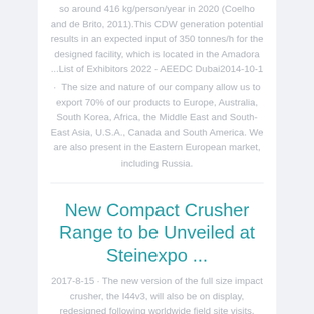so around 416 kg/person/year in 2020 (Coelho and de Brito, 2011).This CDW generation potential results in an expected input of 350 tonnes/h for the designed facility, which is located in the Amadora ...List of Exhibitors 2022 - AEEDC Dubai2014-10-1
The size and nature of our company allow us to export 70% of our products to Europe, Australia, South Korea, Africa, the Middle East and South-East Asia, U.S.A., Canada and South America. We are also present in the Eastern European market, including Russia.
New Compact Crusher Range to be Unveiled at Steinexpo ...
2017-8-15 · The new version of the full size impact crusher, the I44v3, will also be on display, redesigned following worldwide field site visits. Feedback from customers resulted in significant changes to the impact crusher